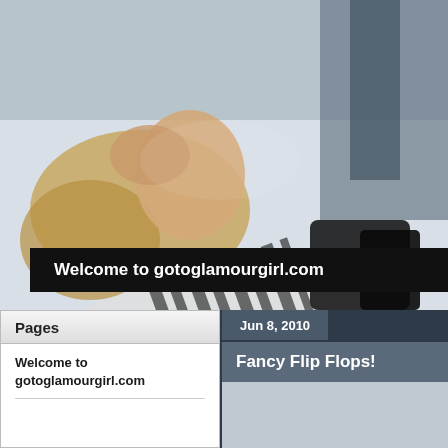[Figure (photo): Fashion photo of a woman with long blonde hair lying on a white surface, wearing a black and white zebra-print outfit with black boots, industrial/urban background]
Welcome to gotoglamourgirl.com
Pages
Welcome to gotoglamourgirl.com
Jun 8, 2010
Fancy Flip Flops!